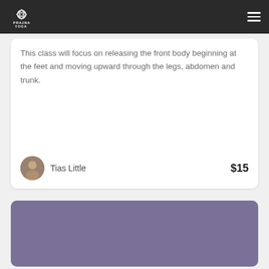Prajna Yoga
This class will focus on releasing the front body beginning at the feet and moving upward through the legs, abdomen and trunk.
Tias Little   $15
[Figure (photo): Purple/mauve colored card or image section at the bottom of the page]